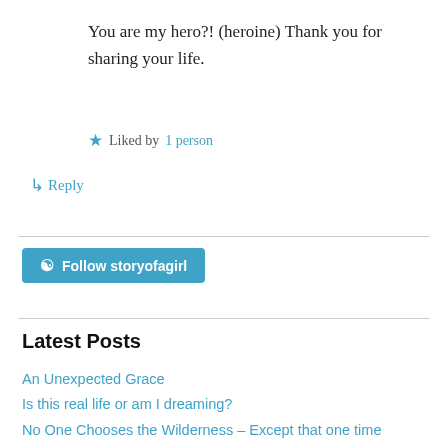You are my hero?! (heroine) Thank you for sharing your life.
★ Liked by 1 person
↳ Reply
[Figure (other): Follow storyofagirl button with WordPress icon]
Latest Posts
An Unexpected Grace
Is this real life or am I dreaming?
No One Chooses the Wilderness – Except that one time
With Every Breath that I am Able…
In Pursuit of Glory… It's not about me